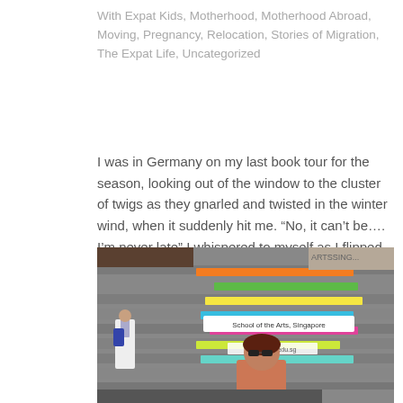With Expat Kids, Motherhood, Motherhood Abroad, Moving, Pregnancy, Relocation, Stories of Migration, The Expat Life, Uncategorized
I was in Germany on my last book tour for the season, looking out of the window to the cluster of twigs as they gnarled and twisted in the winter wind, when it suddenly hit me. “No, it can’t be…. I’m never late” I whispered to myself as I flipped out my phone and...
[Figure (photo): A woman wearing sunglasses standing in front of colorful painted steps at the School of the Arts, Singapore. Colorful horizontal bands of orange, green, yellow, cyan, magenta, and yellow are painted on the steps. A sign reads 'School of the Arts, Singapore' and another reads 'www.sota.edu.sg'. A student in school uniform is visible on the left.]